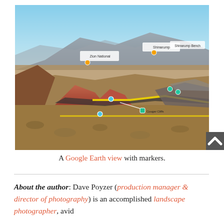[Figure (photo): A Google Earth aerial/3D view of a red rock canyon landscape with mountains in the background, overlaid with yellow route markers and blue/teal location pins with labels including 'Zion National Park', 'Hurricane Peak', 'Shinarump Bench', and 'Cougar Cliffs'. A scroll-to-top button appears in the bottom-right corner.]
A Google Earth view with markers.
About the author: Dave Poyzer (production manager & director of photography) is an accomplished landscape photographer, avid